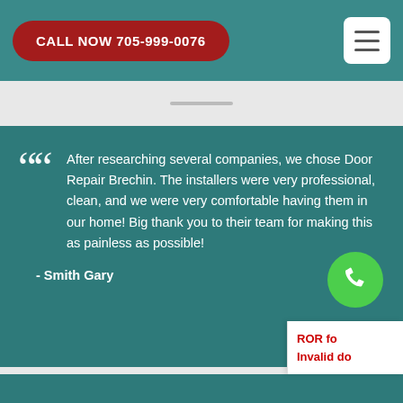CALL NOW 705-999-0076
After researching several companies, we chose Door Repair Brechin. The installers were very professional, clean, and we were very comfortable having them in our home! Big thank you to their team for making this as painless as possible!

- Smith Gary